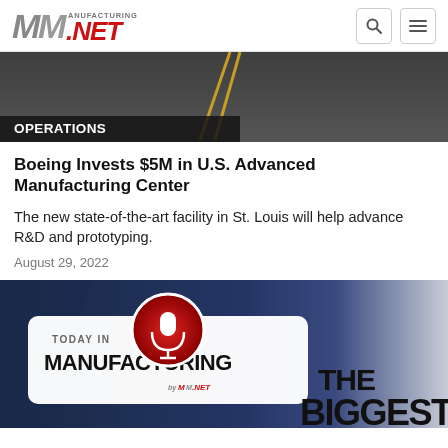Manufacturing.NET
[Figure (photo): Aerial view of a road surface with yellow center lines, with an OPERATIONS category bar overlay at the bottom]
OPERATIONS
Boeing Invests $5M in U.S. Advanced Manufacturing Center
The new state-of-the-art facility in St. Louis will help advance R&D and prototyping.
August 29, 2022
[Figure (photo): Today in Manufacturing podcast card with microphone icon on dark blue background, with THE BIGGEST text on the right]